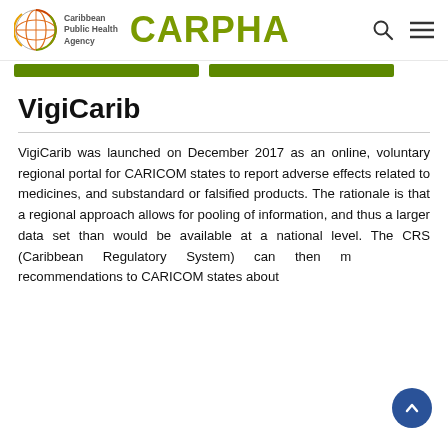Caribbean Public Health Agency — CARPHA
VigiCarib
VigiCarib was launched on December 2017 as an online, voluntary regional portal for CARICOM states to report adverse effects related to medicines, and substandard or falsified products. The rationale is that a regional approach allows for pooling of information, and thus a larger data set than would be available at a national level. The CRS (Caribbean Regulatory System) can then make recommendations to CARICOM states about